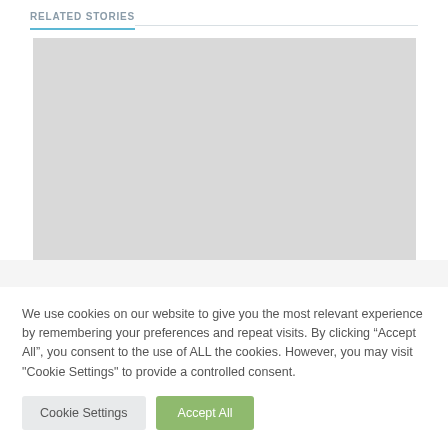RELATED STORIES
[Figure (other): Gray placeholder image rectangle for a related story]
We use cookies on our website to give you the most relevant experience by remembering your preferences and repeat visits. By clicking “Accept All”, you consent to the use of ALL the cookies. However, you may visit "Cookie Settings" to provide a controlled consent.
Cookie Settings
Accept All